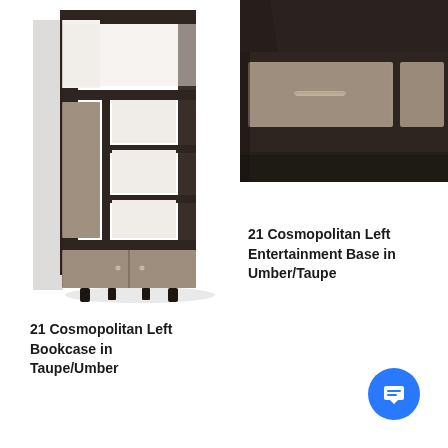[Figure (photo): 21 Cosmopolitan Left Bookcase in Taupe/Umber — a tall dark espresso bookcase with taupe/tan cabinet doors and open shelving]
[Figure (photo): 21 Cosmopolitan Left Entertainment Base in Umber/Taupe — close-up of a dark umber entertainment unit with a large taupe drawer and metal pull handle]
21 Cosmopolitan Left Bookcase in Taupe/Umber
21 Cosmopolitan Left Entertainment Base in Umber/Taupe